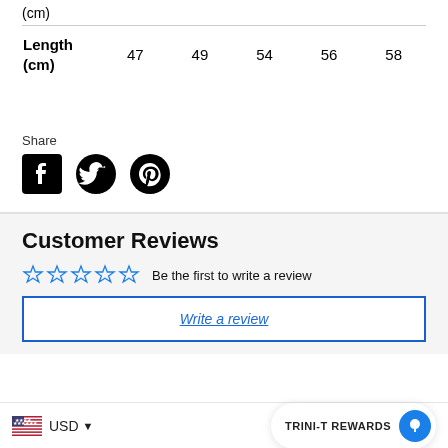(cm)
| Length (cm) | 47 | 49 | 54 | 56 | 58 |
| --- | --- | --- | --- | --- | --- |
Share
[Figure (other): Social share icons: Facebook, Twitter, Pinterest]
Customer Reviews
☆☆☆☆☆ Be the first to write a review
Write a review
USD  TRINI-T REWARDS